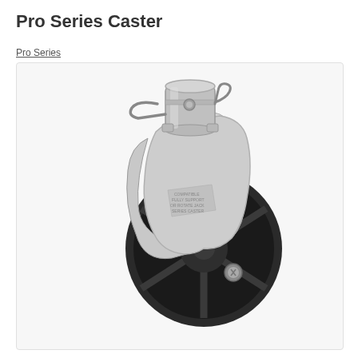Pro Series Caster
Pro Series
[Figure (photo): A Pro Series Caster showing a metal swivel mount at top with a locking bail/clip mechanism, connected to a silver/chrome metal yoke bracket, and a large black spoked wheel at the bottom. The casting on the bracket has text indicating compatibility with a rotate jack. A bolt/axle is visible at the wheel hub.]